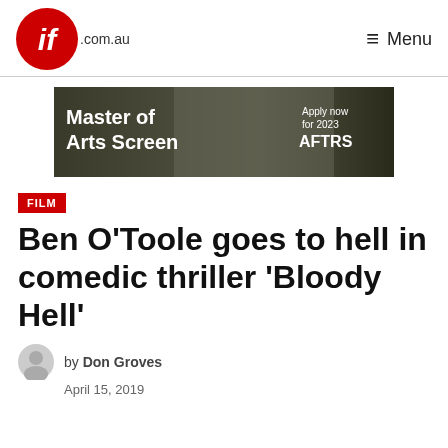if.com.au — Menu
[Figure (photo): Advertisement banner for AFTRS Master of Arts Screen program, showing a person operating a film camera, with text 'Master of Arts Screen' and 'Apply now for 2023 AFTRS']
FILM
Ben O'Toole goes to hell in comedic thriller 'Bloody Hell'
by Don Groves
April 15, 2019